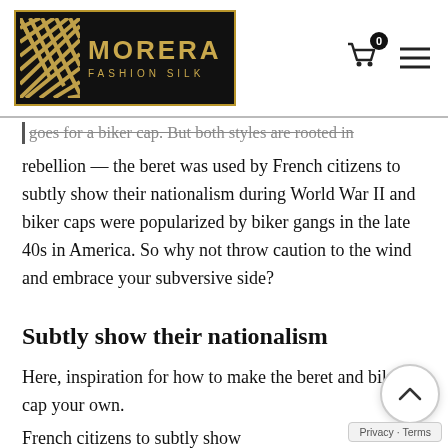MORERA FASHION SILK — navigation header with logo, cart (0), and menu icon
goes for a biker cap. But both styles are rooted in rebellion — the beret was used by French citizens to subtly show their nationalism during World War II and biker caps were popularized by biker gangs in the late 40s in America. So why not throw caution to the wind and embrace your subversive side?
Subtly show their nationalism
Here, inspiration for how to make the beret and biker cap your own.
French citizens to subtly show their nationalism